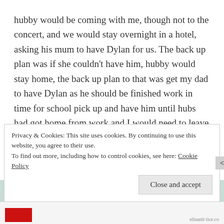hubby would be coming with me, though not to the concert, and we would stay overnight in a hotel, asking his mum to have Dylan for us. The back up plan was if she couldn't have him, hubby would stay home, the back up plan to that was get my dad to have Dylan as he should be finished work in time for school pick up and have him until hubs had got home from work and I would need to leave the concert early to catch the train home so I could do the school run in the morning.
Privacy & Cookies: This site uses cookies. By continuing to use this website, you agree to their use.
To find out more, including how to control cookies, see here: Cookie Policy
Close and accept